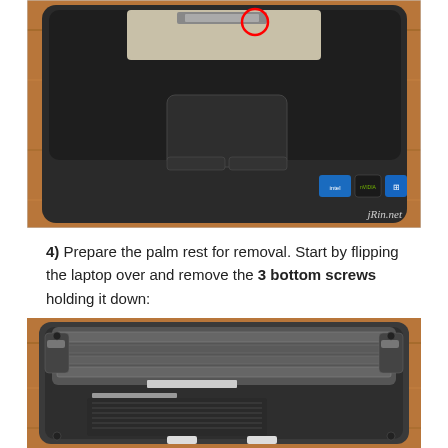[Figure (photo): Laptop viewed from above with palm rest area partially removed, showing internal components and a red circle highlighting a screw/connector point. The brand stickers (Intel, nVidia, Windows) are visible. Watermark 'jRin.net' in bottom-right corner.]
4)  Prepare the palm rest for removal.  Start by flipping the laptop over and remove the 3 bottom screws holding it down:
[Figure (photo): Bottom view of a laptop with the battery removed, showing the battery compartment interior with battery latches and connectors visible, placed on a wooden surface.]